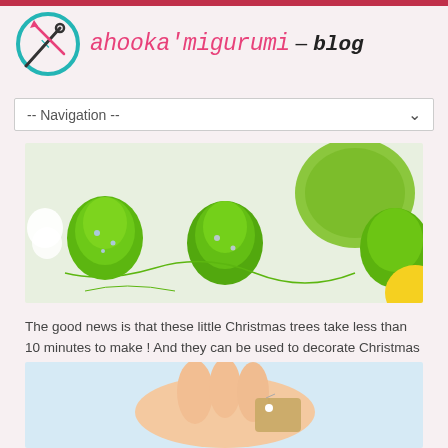[Figure (logo): ahooka'migurumi – blog logo with crochet hook icon in teal circle]
[Figure (photo): Navigation dropdown bar with '-- Navigation --' label and dropdown arrow]
[Figure (photo): Close-up photo of green crocheted Christmas tree decorations with a ball of green yarn on a white background]
The good news is that these little Christmas trees take less than 10 minutes to make ! And they can be used to decorate Christmas cards, gift cards or even your Christmas table !
[Figure (photo): Photo of a hand holding a small gift tag against a light blue background]